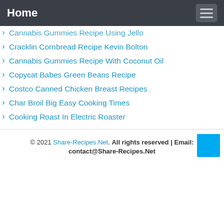Home
Cannabis Gummies Recipe Using Jello
Cracklin Cornbread Recipe Kevin Bolton
Cannabis Gummies Recipe With Coconut Oil
Copycat Babes Green Beans Recipe
Costco Canned Chicken Breast Recipes
Char Broil Big Easy Cooking Times
Cooking Roast In Electric Roaster
© 2021 Share-Recipes.Net. All rights reserved | Email: contact@Share-Recipes.Net